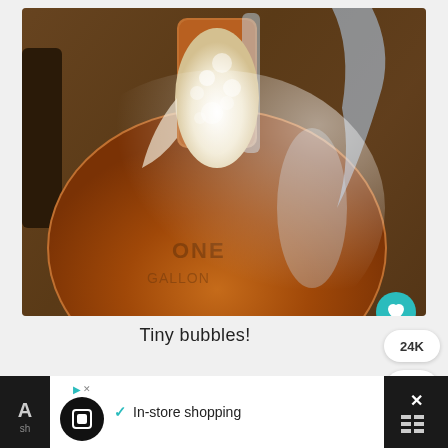[Figure (photo): Close-up photo of a glass jug/carboy containing amber-colored fermenting beer or kombucha, with white foam/bubbles visible at the neck of the jug. The jug sits on a wooden surface. Text 'ONE GALLON' is embossed on the glass.]
Tiny bubbles!
24K
In-store shopping